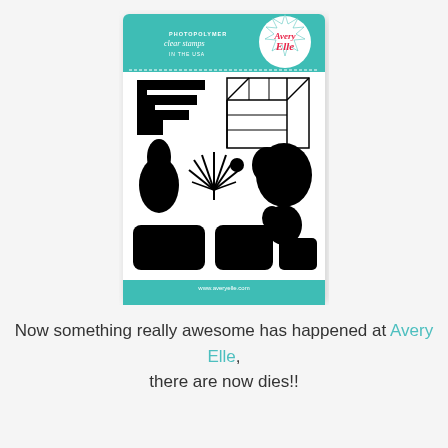[Figure (photo): Avery Elle photopolymer clear stamps product package showing various geometric and botanical stamp shapes on a teal/white card with the Avery Elle logo.]
Now something really awesome has happened at Avery Elle, there are now dies!!